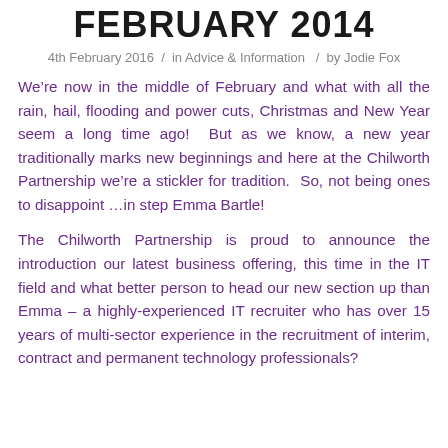FEBRUARY 2014
4th February 2016 / in Advice & Information / by Jodie Fox
We're now in the middle of February and what with all the rain, hail, flooding and power cuts, Christmas and New Year seem a long time ago!  But as we know, a new year traditionally marks new beginnings and here at the Chilworth Partnership we're a stickler for tradition.  So, not being ones to disappoint …in step Emma Bartle!
The Chilworth Partnership is proud to announce the introduction our latest business offering, this time in the IT field and what better person to head our new section up than Emma – a highly-experienced IT recruiter who has over 15 years of multi-sector experience in the recruitment of interim, contract and permanent technology professionals?